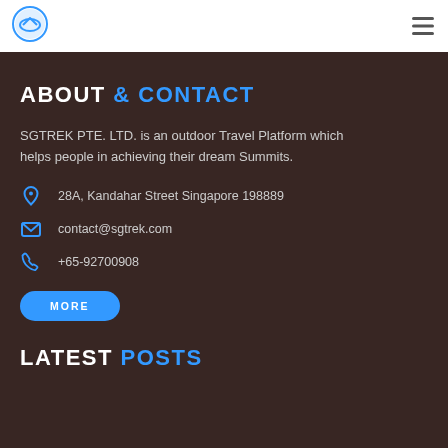[Figure (logo): SGTREK circular logo with mountain/cloud icon in blue and white]
[Figure (illustration): Hamburger menu icon (three horizontal lines)]
ABOUT & CONTACT
SGTREK PTE. LTD. is an outdoor Travel Platform which helps people in achieving their dream Summits.
28A, Kandahar Street Singapore 198889
contact@sgtrek.com
+65-92700908
MORE
LATEST POSTS